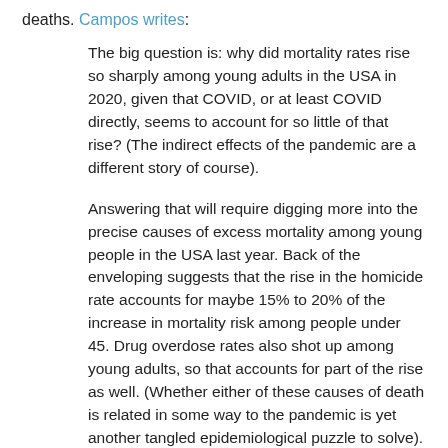deaths. Campos writes:
The big question is: why did mortality rates rise so sharply among young adults in the USA in 2020, given that COVID, or at least COVID directly, seems to account for so little of that rise? (The indirect effects of the pandemic are a different story of course).
Answering that will require digging more into the precise causes of excess mortality among young people in the USA last year. Back of the enveloping suggests that the rise in the homicide rate accounts for maybe 15% to 20% of the increase in mortality risk among people under 45. Drug overdose rates also shot up among young adults, so that accounts for part of the rise as well. (Whether either of these causes of death is related in some way to the pandemic is yet another tangled epidemiological puzzle to solve).
In any case the social effects of the pandemic